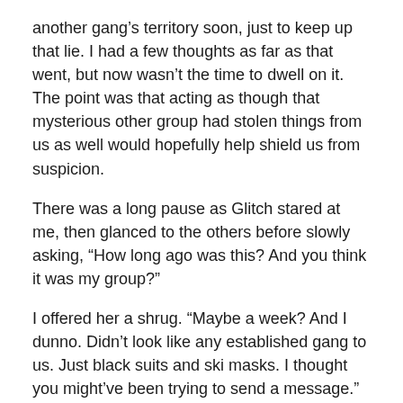another gang’s territory soon, just to keep up that lie. I had a few thoughts as far as that went, but now wasn’t the time to dwell on it. The point was that acting as though that mysterious other group had stolen things from us as well would hopefully help shield us from suspicion.
There was a long pause as Glitch stared at me, then glanced to the others before slowly asking, “How long ago was this? And you think it was my group?”
I offered her a shrug. “Maybe a week? And I dunno. Didn’t look like any established gang to us. Just black suits and ski masks. I thought you might’ve been trying to send a message.”
“If you were,” Alloy put in, “It wasn’t a very clear one.”
“I assure you,” Glitch replied, “That group has no